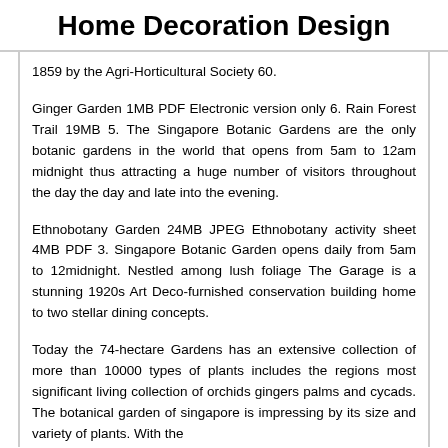Home Decoration Design
1859 by the Agri-Horticultural Society 60.
Ginger Garden 1MB PDF Electronic version only 6. Rain Forest Trail 19MB 5. The Singapore Botanic Gardens are the only botanic gardens in the world that opens from 5am to 12am midnight thus attracting a huge number of visitors throughout the day the day and late into the evening.
Ethnobotany Garden 24MB JPEG Ethnobotany activity sheet 4MB PDF 3. Singapore Botanic Garden opens daily from 5am to 12midnight. Nestled among lush foliage The Garage is a stunning 1920s Art Deco-furnished conservation building home to two stellar dining concepts.
Today the 74-hectare Gardens has an extensive collection of more than 10000 types of plants includes the regions most significant living collection of orchids gingers palms and cycads. The botanical garden of singapore is impressing by its size and variety of plants. With the